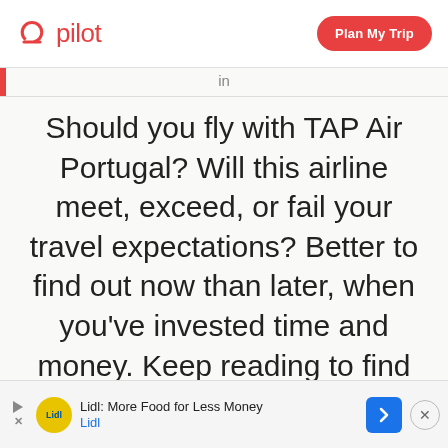pilot | Plan My Trip
in
Should you fly with TAP Air Portugal? Will this airline meet, exceed, or fail your travel expectations? Better to find out now than later, when you've invested time and money. Keep reading to find everything you'll
Lidl: More Food for Less Money Lidl